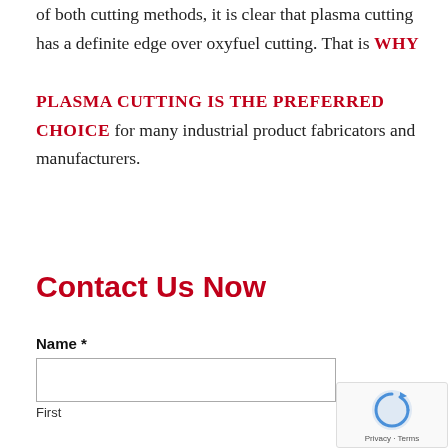of both cutting methods, it is clear that plasma cutting has a definite edge over oxyfuel cutting. That is WHY PLASMA CUTTING IS THE PREFERRED CHOICE for many industrial product fabricators and manufacturers.
Contact Us Now
Name *
First